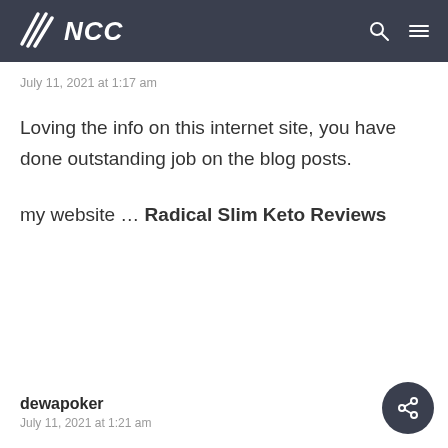NCC
July 11, 2021 at 1:17 am
Loving the info on this internet site, you have done outstanding job on the blog posts.
my website … Radical Slim Keto Reviews
dewapoker
July 11, 2021 at 1:21 am